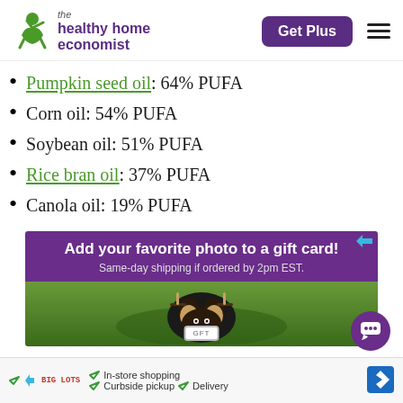the healthy home economist | Get Plus
Pumpkin seed oil: 64% PUFA
Corn oil: 54% PUFA
Soybean oil: 51% PUFA
Rice bran oil: 37% PUFA
Canola oil: 19% PUFA
[Figure (photo): Advertisement banner: purple background with text 'Add your favorite photo to a gift card! Same-day shipping if ordered by 2pm EST.' with a dog photo below]
[Figure (infographic): Bottom banner ad: In-store shopping, Curbside pickup, Delivery checkmarks with store logo and navigation arrow]